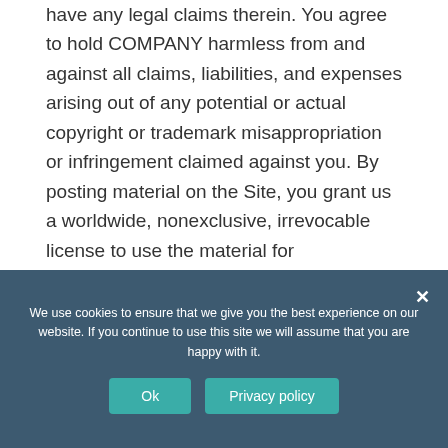hold COMPANY harmless from and against all claims, liabilities, and expenses arising out of any potential or actual copyright or trademark misappropriation or infringement claimed against you. By posting material on the Site, you grant us a worldwide, nonexclusive, irrevocable license to use the material for promotional, business development, and marketing purposes.
Our Intellectual Property
We use cookies to ensure that we give you the best experience on our website. If you continue to use this site we will assume that you are happy with it.